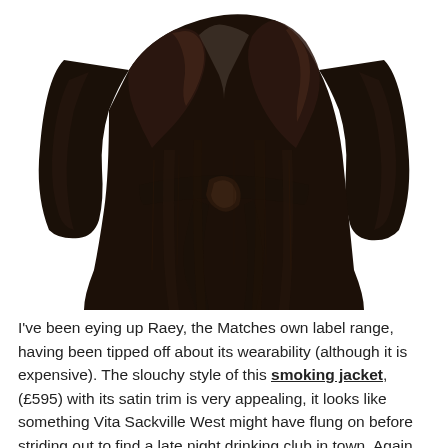[Figure (photo): A dark brown/black velvet smoking jacket with satin lapels and a matching belt tied at the waist, shown against a white background. The jacket has long sleeves and a wrap/robe style.]
I've been eying up Raey, the Matches own label range, having been tipped off about its wearability (although it is expensive). The slouchy style of this smoking jacket, (£595) with its satin trim is very appealing, it looks like something Vita Sackville West might have flung on before striding out to find a late night drinking club in town. Again,